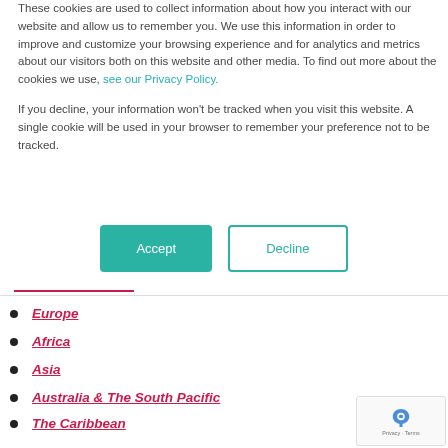These cookies are used to collect information about how you interact with our website and allow us to remember you. We use this information in order to improve and customize your browsing experience and for analytics and metrics about our visitors both on this website and other media. To find out more about the cookies we use, see our Privacy Policy.

If you decline, your information won't be tracked when you visit this website. A single cookie will be used in your browser to remember your preference not to be tracked.
[Figure (other): Two buttons: Accept (teal filled) and Decline (teal outlined)]
Europe
Africa
Asia
Australia & The South Pacific
The Caribbean
North America